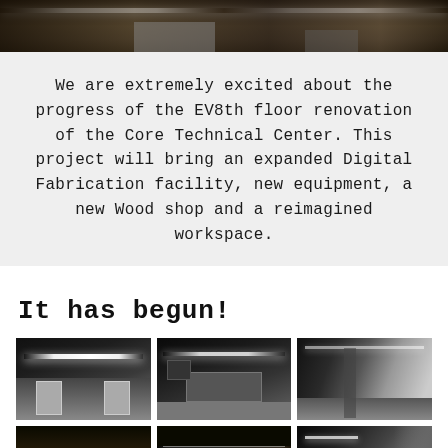[Figure (photo): Top banner photo showing a workshop or fabrication space with equipment and overhead lighting]
We are extremely excited about the progress of the EV8th floor renovation of the Core Technical Center. This project will bring an expanded Digital Fabrication facility, new equipment, a new Wood shop and a reimagined workspace.
It has begun!
[Figure (photo): Interior room with LED strip lighting on ceiling, white walls, and doors]
[Figure (photo): Interior room with LED strip lighting, window opening in wall, and equipment]
[Figure (photo): Large open room with floor-to-ceiling windows and concrete columns]
[Figure (photo): Ceiling view showing ductwork and LED strip lighting with wooden beams]
[Figure (photo): Dark ceiling view showing industrial space under construction]
[Figure (photo): Partially visible room with wall and ceiling detail]